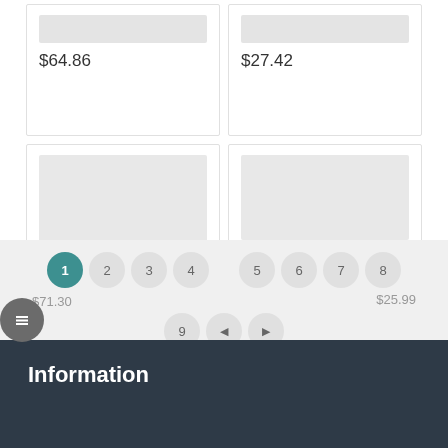$64.86
$27.42
$9.30
$14.78
$71.30
$25.99
1 2 3 4 5 6 7 8 9
Information